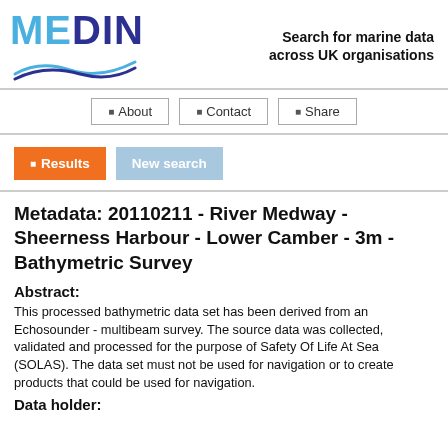[Figure (logo): MEDIN logo with wave graphic and tagline 'Search for marine data across UK organisations']
About | Contact | Share
Results   New search
Metadata: 20110211 - River Medway - Sheerness Harbour - Lower Camber - 3m - Bathymetric Survey
Abstract:
This processed bathymetric data set has been derived from an Echosounder - multibeam survey. The source data was collected, validated and processed for the purpose of Safety Of Life At Sea (SOLAS). The data set must not be used for navigation or to create products that could be used for navigation.
Data holder: